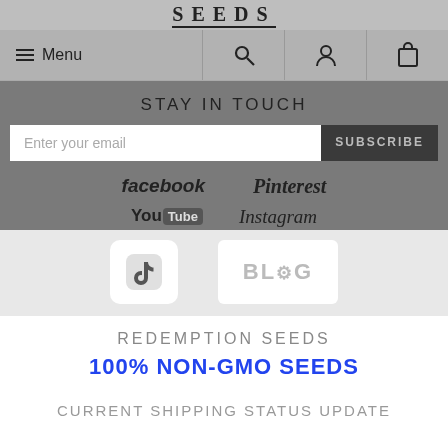SEEDS
≡ Menu
STAY IN TOUCH
Enter your email  SUBSCRIBE
facebook   Pinterest
YouTube   Instagram
[Figure (logo): TikTok icon and BLOG icon on light grey background]
REDEMPTION SEEDS
100% NON-GMO SEEDS
CURRENT SHIPPING STATUS UPDATE